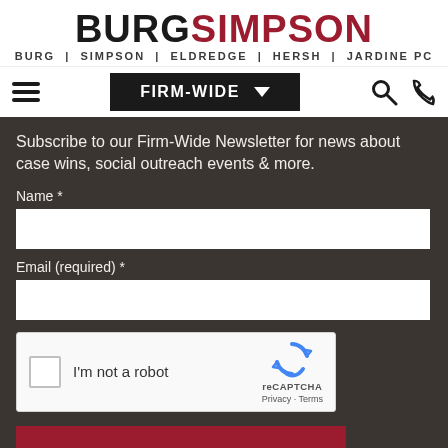[Figure (logo): Burg Simpson law firm logo: BURG in black bold, SIMPSON in dark red bold, subtitle BURG | SIMPSON | ELDREDGE | HERSH | JARDINE PC]
FIRM-WIDE
Subscribe to our Firm-Wide Newsletter for news about case wins, social outreach events & more.
Name *
Email (required) *
[Figure (other): reCAPTCHA widget with checkbox labeled I'm not a robot]
SUBSCRIBE NOW